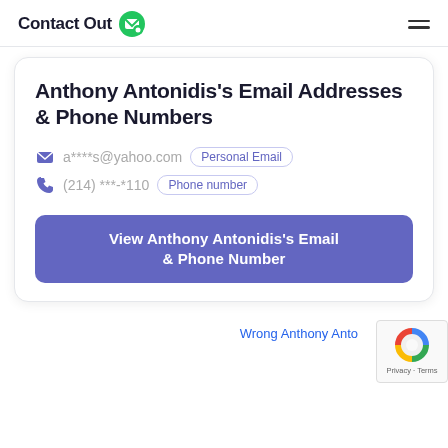ContactOut
Anthony Antonidis's Email Addresses & Phone Numbers
a****s@yahoo.com  Personal Email
(214) ***-*110  Phone number
View Anthony Antonidis's Email & Phone Number
Wrong Anthony Anto